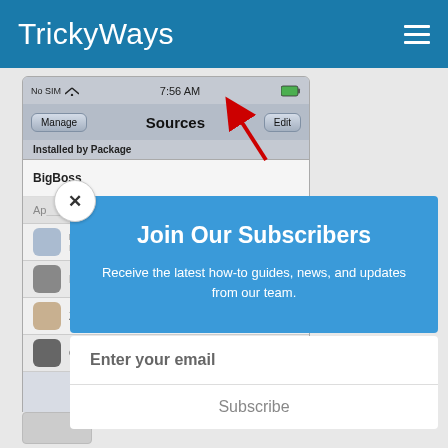TrickyWays
[Figure (screenshot): iPhone screenshot showing Cydia Sources screen with Manage, Sources, Edit navigation bar and BigBoss listed under Installed by Package section. Red arrow pointing to Edit button.]
Join Our Subscribers
Receive the latest how-to guides, news, and updates from our team.
Enter your email
Subscribe